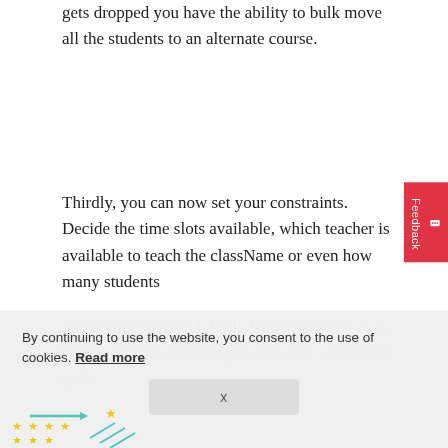gets dropped you have the ability to bulk move all the students to an alternate course.
Thirdly, you can now set your constraints. Decide the time slots available, which teacher is available to teach the className or even how many students one section can hold. It all depends on you; it is highly flexible according to how you want them to be.
By continuing to use the website, you consent to the use of cookies. Read more
[Figure (other): Decorative illustration with stars and lines at bottom left]